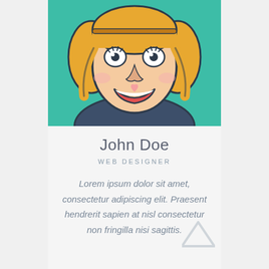[Figure (illustration): Cartoon avatar of a smiling woman with blonde hair, wearing a dark navy shirt, on a teal/green background]
John Doe
WEB DESIGNER
Lorem ipsum dolor sit amet, consectetur adipiscing elit. Praesent hendrerit sapien at nisl consectetur non fringilla nisi sagittis.